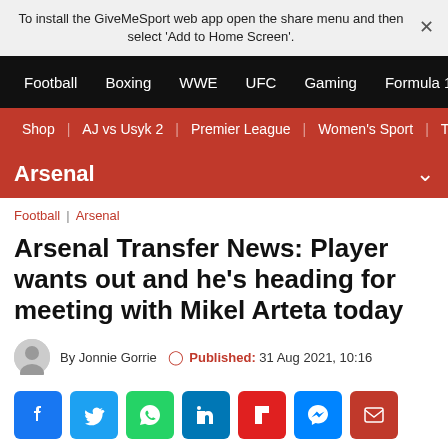To install the GiveMeSport web app open the share menu and then select 'Add to Home Screen'.
Football | Boxing | WWE | UFC | Gaming | Formula 1
Shop | AJ vs Usyk 2 | Premier League | Women's Sport | Th
Arsenal
Football | Arsenal
Arsenal Transfer News: Player wants out and he's heading for meeting with Mikel Arteta today
By Jonnie Gorrie  Published: 31 Aug 2021, 10:16
[Figure (other): Social sharing icons: Facebook, Twitter, WhatsApp, LinkedIn, Flipboard, Messenger, Email]